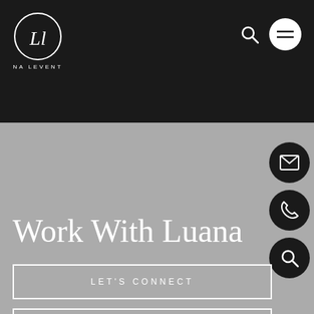[Figure (logo): Luana Leventhal logo — circular emblem with stylized 'LL' initials in white on dark background, with brand name 'LUANA LEVENTHAL' in spaced capitals below]
Work With Luana
LET'S CONNECT
BOOK APPOINTMENT